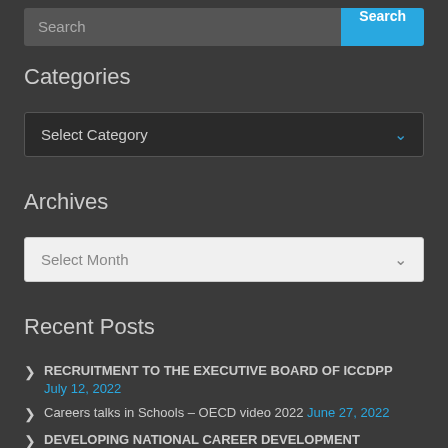Search [search input] Search [button]
Categories
Select Category
Archives
Select Month
Recent Posts
RECRUITMENT TO THE EXECUTIVE BOARD OF ICCDPP July 12, 2022
Careers talks in Schools – OECD video 2022 June 27, 2022
DEVELOPING NATIONAL CAREER DEVELOPMENT SUPPORT SYSTEMS ILO-ETF 2021 PUBLICATION June 24, 2022
RETHINKING CAREER PRACTITIONER PROFESSIONALISM CEDEFOP 2021 PUBLICATION June 24